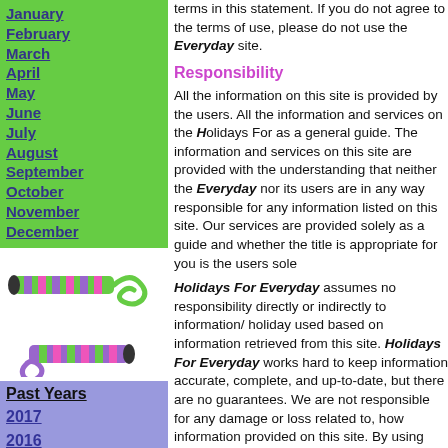January
February
March
April
May
June
July
August
September
October
November
December
[Figure (illustration): Party blower/noisemaker illustration with colorful stripes in green, purple, and pink]
[Figure (illustration): Second party blower/noisemaker illustration with colorful stripes in purple, green, and pink]
Past Years
2017
2016
2015
2014
terms in this statement. If you do not agree to the terms of use, please do not use the Everyday site.
Responsibility
All the information on this site is provided by the users. All the information and services on the Holidays For Everyday site are provided as a general guide. The information and services on this site are provided with the understanding that neither the Everyday nor its users are in any way responsible for any information listed on this site. Our services are provided solely as a guide and whether the title is appropriate for you is the users sole responsibility.
Holidays For Everyday assumes no responsibility directly or indirectly to information/ holiday used based on or retrieved from this site. Holidays For Everyday works hard to keep information accurate, complete, and up-to-date, but there are no guarantees. We are not responsible for any damage or loss related to, the use of any information provided on this site. By using this site, it's information you agree to indemnify and hold harmless Holidays For Everyday, its owners and contributors, from any liability, loss, claim and expense related your visit to our website.
Under no circumstances, including, but not limited to, will Holidays For Everyday be liable for any special or consequential damages from the use or inability to use, the materials in this site.
The materials in this site is provided "AS IS" and without warranties, express or implied. Holidays For Everyday does not warrant or make any representations the use or the results of the use of the materials in this site in terms of to their correctness, accuracy, reliability or otherwise, or incur any necessary expenses including medical, servicing, or repair costs.